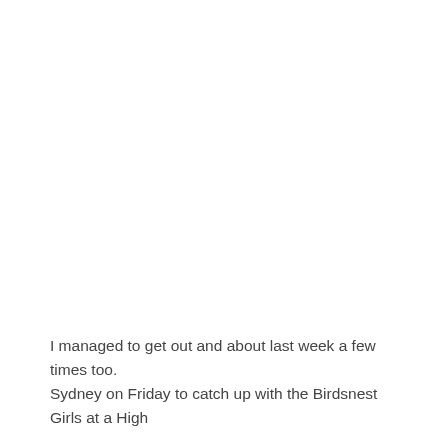I managed to get out and about last week a few times too. Sydney on Friday to catch up with the Birdsnest Girls at a High